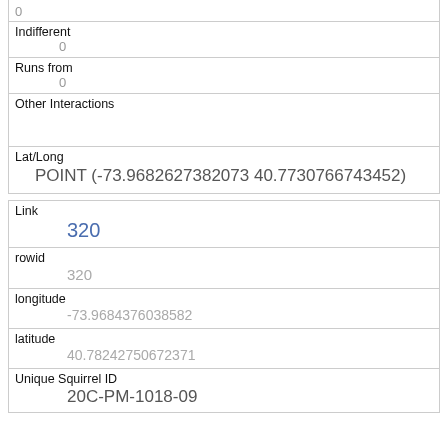| Approachable | 0 |
| Indifferent | 0 |
| Runs from | 0 |
| Other Interactions |  |
| Lat/Long | POINT (-73.9682627382073 40.7730766743452) |
| Link | 320 |
| rowid | 320 |
| longitude | -73.9684376038582 |
| latitude | 40.78242750672371 |
| Unique Squirrel ID | 20C-PM-1018-09 |